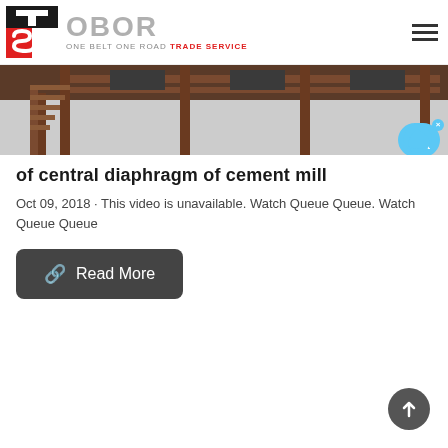[Figure (logo): TS OBOR ONE BELT ONE ROAD TRADE SERVICE logo with red and black geometric icon]
[Figure (photo): Industrial/construction site photo showing metal stairs and structural framework in brown/rust colors]
of central diaphragm of cement mill
Oct 09, 2018 · This video is unavailable. Watch Queue Queue. Watch Queue Queue
Read More